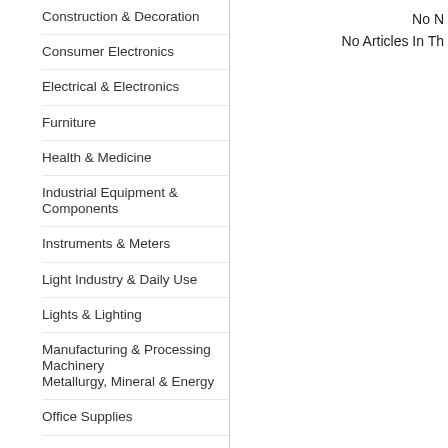Construction & Decoration
Consumer Electronics
Electrical & Electronics
Furniture
Health & Medicine
Industrial Equipment & Components
Instruments & Meters
Light Industry & Daily Use
Lights & Lighting
Manufacturing & Processing Machinery
Metallurgy, Mineral & Energy
Office Supplies
Packaging & Printing
Security & Protection
Service
Sporting Goods & Recreation
No N
No Articles In Th